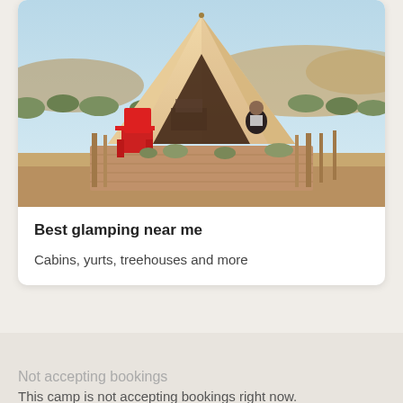[Figure (photo): A glamping tent on a wooden deck in a desert landscape with red Adirondack chair and person sitting inside the open tent, scrubby green vegetation and rocky hills in the background under a light blue sky.]
Best glamping near me
Cabins, yurts, treehouses and more
Not accepting bookings
This camp is not accepting bookings right now.